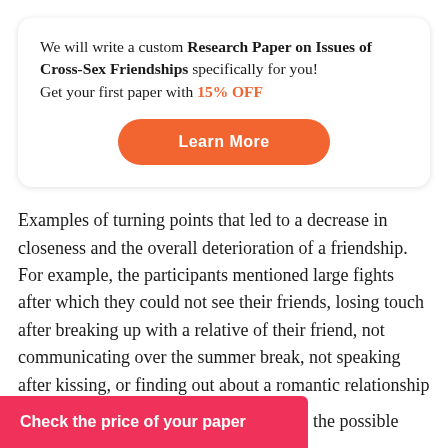We will write a custom Research Paper on Issues of Cross-Sex Friendships specifically for you!
Get your first paper with 15% OFF
Learn More
Examples of turning points that led to a decrease in closeness and the overall deterioration of a friendship. For example, the participants mentioned large fights after which they could not see their friends, losing touch after breaking up with a relative of their friend, not communicating over the summer break, not speaking after kissing, or finding out about a romantic relationship of their friend. These turning points characterize the nature of
Check the price of your paper
ed to the possible